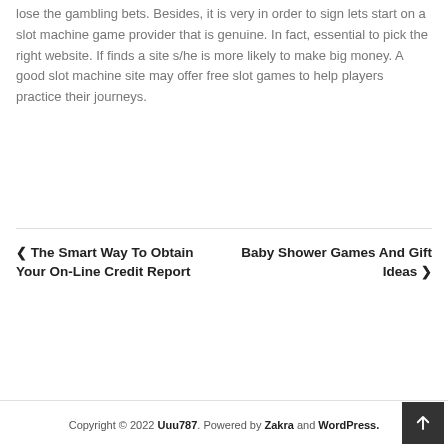lose the gambling bets. Besides, it is very in order to sign lets start on a slot machine game provider that is genuine. In fact, essential to pick the right website. If finds a site s/he is more likely to make big money. A good slot machine site may offer free slot games to help players practice their journeys.
◀ The Smart Way To Obtain Your On-Line Credit Report
Baby Shower Games And Gift Ideas ▶
Copyright © 2022 Uuu787. Powered by Zakra and WordPress.